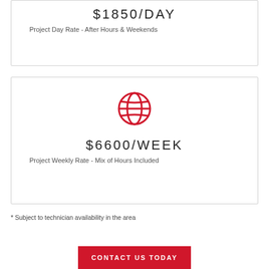$1850/DAY
Project Day Rate - After Hours & Weekends
[Figure (illustration): Red globe/world icon SVG]
$6600/WEEK
Project Weekly Rate - Mix of Hours Included
* Subject to technician availability in the area
CONTACT US TODAY